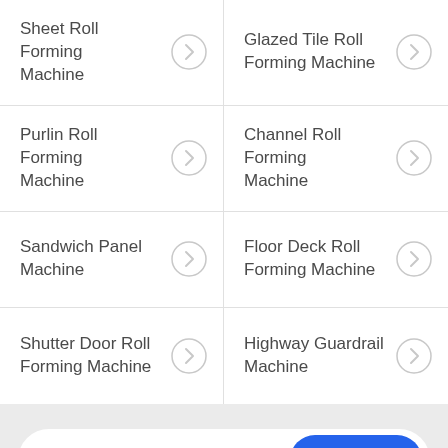Sheet Roll Forming Machine
Glazed Tile Roll Forming Machine
Purlin Roll Forming Machine
Channel Roll Forming Machine
Sandwich Panel Machine
Floor Deck Roll Forming Machine
Shutter Door Roll Forming Machine
Highway Guardrail Machine
E-mail
Subscribe